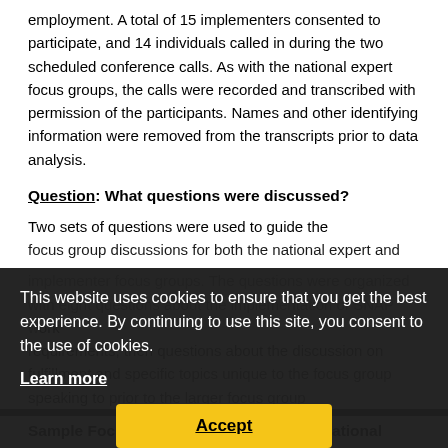employment.  A total of 15 implementers consented to participate, and 14 individuals called in during the two scheduled conference calls.  As with the national expert focus groups, the calls were recorded and transcribed with permission of the participants.  Names and other identifying information were removed from the transcripts prior to data analysis.
Question: What questions were discussed?
Two sets of questions were used to guide the focus group discussions for both the national expert and...
This website uses cookies to ensure that you get the best experience. By continuing to use this site, you consent to the use of cookies.
Learn more
Accept
Sample Focus Group Questions for the National